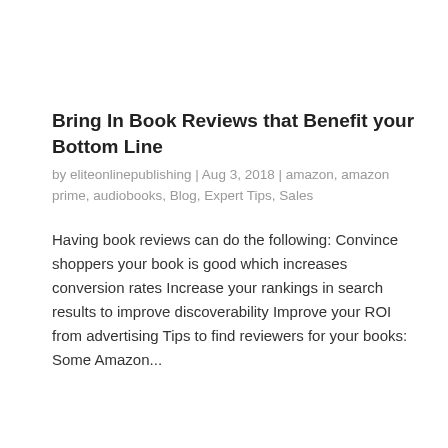Bring In Book Reviews that Benefit your Bottom Line
by eliteonlinepublishing | Aug 3, 2018 | amazon, amazon prime, audiobooks, Blog, Expert Tips, Sales
Having book reviews can do the following: Convince shoppers your book is good which increases conversion rates Increase your rankings in search results to improve discoverability Improve your ROI from advertising Tips to find reviewers for your books: Some Amazon...